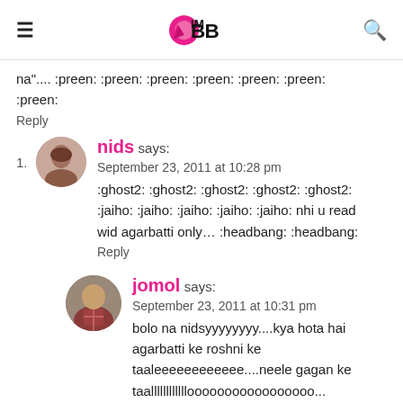IMBB
na".... :preen: :preen: :preen: :preen: :preen: :preen: :preen:
Reply
1. nids says:
September 23, 2011 at 10:28 pm
:ghost2: :ghost2: :ghost2: :ghost2: :ghost2: :jaiho: :jaiho: :jaiho: :jaiho: :jaiho: nhi u read wid agarbatti only… :headbang: :headbang:
Reply
jomol says:
September 23, 2011 at 10:31 pm
bolo na nidsyyyyyyyy....kya hota hai agarbatti ke roshni ke taaleeeeeeeeeeee....neele gagan ke taallllllllllllooooooooooooooooo...